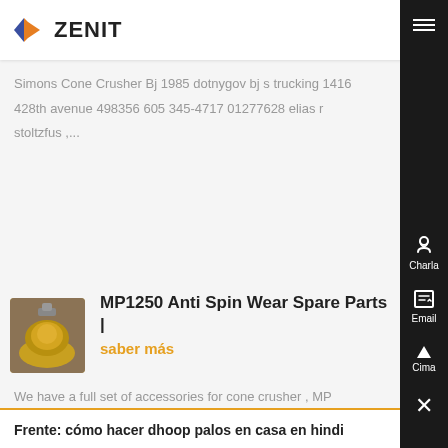ZENIT
Simons Cone Crusher Bj 1985 dotnygov bj s trucking 1416 428th avenue 498356 605 345-4717 01277628 elias r stoltzfus ,...
[Figure (photo): Thumbnail photo of industrial cone crusher machine with yellow/orange coloring]
MP1250 Anti Spin Wear Spare Parts |
saber más
We have a full set of accessories for cone crusher , MP Series ® , Contact us Head Spin Cone , crusher anti-spin clutch 10 1985 ....
Frente: cómo hacer dhoop palos en casa en hindi